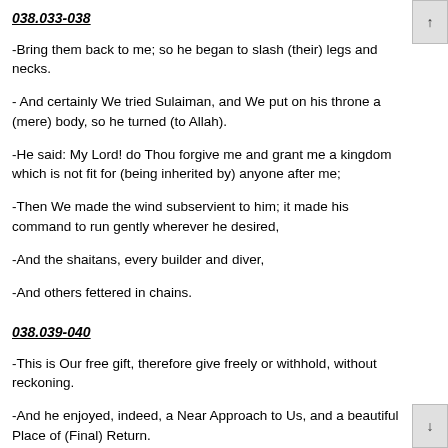038.033-038
-Bring them back to me; so he began to slash (their) legs and necks.
- And certainly We tried Sulaiman, and We put on his throne a (mere) body, so he turned (to Allah).
-He said: My Lord! do Thou forgive me and grant me a kingdom which is not fit for (being inherited by) anyone after me;
-Then We made the wind subservient to him; it made his command to run gently wherever he desired,
-And the shaitans, every builder and diver,
-And others fettered in chains.
038.039-040
-This is Our free gift, therefore give freely or withhold, without reckoning.
-And he enjoyed, indeed, a Near Approach to Us, and a beautiful Place of (Final) Return.
Quote
038.041
YUSUFALI: Commemorate Our Servant Job. Behold he cried to his Lord: "The Evil One has afflicted me with distress and suffering!"
PICKTHAL: And make mention (O Muhammad) of Our bondman Job,